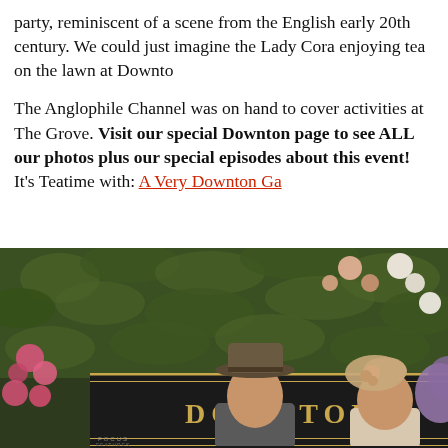party, reminiscent of a scene from the English early 20th century. We could just imagine the Lady Cora enjoying tea on the lawn at Downton...
The Anglophile Channel was on hand to cover activities at The Grove. Visit our special Downton page to see ALL our photos plus our special episode about the event! It's Teatime with: A Very Downton Ga...
[Figure (photo): Two people posing in front of a Downton Abbey movie promotional backdrop with flowers and greenery. The backdrop shows 'DOWNTON ABBEY THE MOTION PICTURE SEPT' text and Focus Features logo. A man in a grey fedora hat and a woman in a beige floral fascinator are visible.]